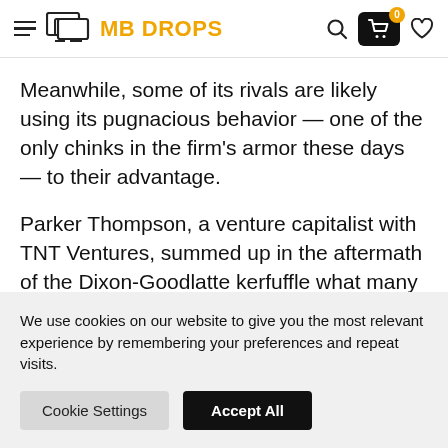MB DROPS
Meanwhile, some of its rivals are likely using its pugnacious behavior — one of the only chinks in the firm's armor these days — to their advantage.
Parker Thompson, a venture capitalist with TNT Ventures, summed up in the aftermath of the Dixon-Goodlatte kerfuffle what many are whispering when
We use cookies on our website to give you the most relevant experience by remembering your preferences and repeat visits.
Cookie Settings
Accept All